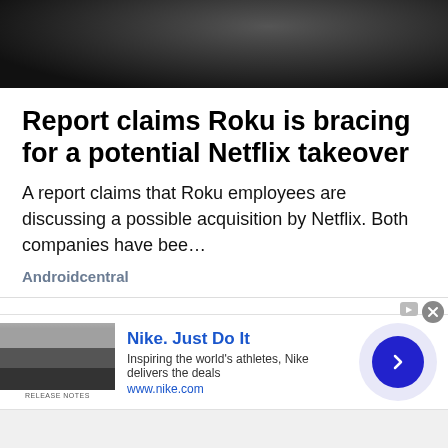[Figure (photo): Dark image of a device, likely a Roku or remote, with dark glossy surface and blue lighting on the left edge]
Report claims Roku is bracing for a potential Netflix takeover
A report claims that Roku employees are discussing a possible acquisition by Netflix. Both companies have bee…
Androidcentral
[Figure (screenshot): Nike advertisement banner: Nike. Just Do It. Inspiring the world's athletes, Nike delivers the deals. www.nike.com. With a thumbnail image, a purple circle with a dark blue arrow button, and an ad indicator icon.]